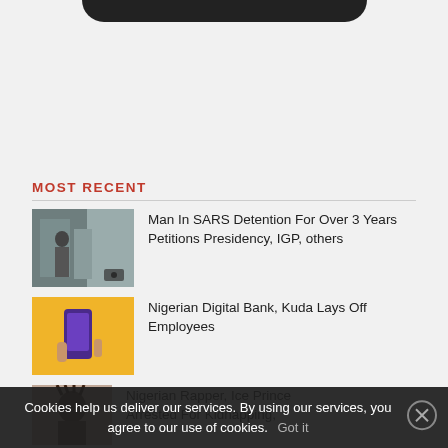[Figure (screenshot): Top dark rounded banner (navigation bar at top of page)]
MOST RECENT
[Figure (photo): Thumbnail image of man in SARS detention news article]
Man In SARS Detention For Over 3 Years Petitions Presidency, IGP, others
[Figure (photo): Thumbnail image of Nigerian Digital Bank Kuda article — hand holding phone on yellow background]
Nigerian Digital Bank, Kuda Lays Off Employees
[Figure (photo): Thumbnail image of Nigerian Rapper Ice Prince article]
Nigerian Rapper, Ice Prince Arrested For Kidnapping,
Cookies help us deliver our services. By using our services, you agree to our use of cookies. Got it